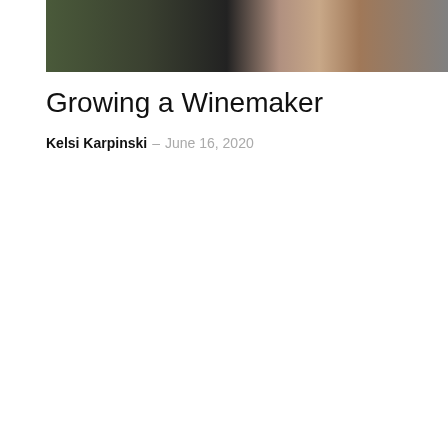[Figure (photo): Photograph showing people in what appears to be a winery or classroom setting, partially cropped at the top of the page]
Growing a Winemaker
Kelsi Karpinski – June 16, 2020